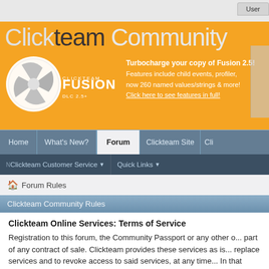Clickteam Community
[Figure (screenshot): Clickteam Fusion 2.5+ DLC banner advertisement on orange background]
Home | What's New? | Forum | Clickteam Site | Cli...
Clickteam Customer Service ▼  Quick Links ▼
🏠 Forum Rules
Clickteam Community Rules
Clickteam Online Services: Terms of Service
Registration to this forum, the Community Passport or any other o... part of any contract of sale. Clickteam provides these services as is... replace services and to revoke access to said services, at any time... In that these services are offered gratis to you, the end user, there... user should the services become unavailable, either temporarily (fo... example should we choose to remove a service such as the blog fa... become unavailable or are withheld, Clickteam will honour support... the main website, available at this time at http://www.clickteam.com... http://www.clickteam.com/fr/contact (francais)
When using our online services you must agree to abide by our po...